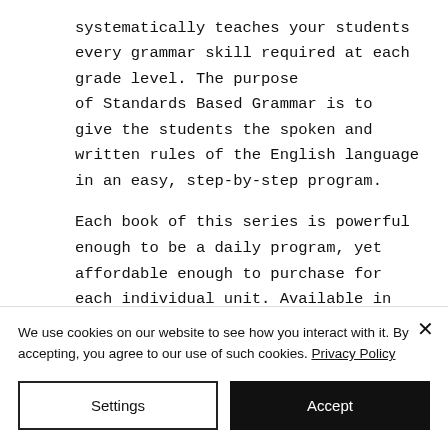systematically teaches your students every grammar skill required at each grade level. The purpose of Standards Based Grammar is to give the students the spoken and written rules of the English language in an easy, step-by-step program.

Each book of this series is powerful enough to be a daily program, yet affordable enough to purchase for each individual unit. Available in Grades 3-4, 5-6, 7-8...
We use cookies on our website to see how you interact with it. By accepting, you agree to our use of such cookies. Privacy Policy